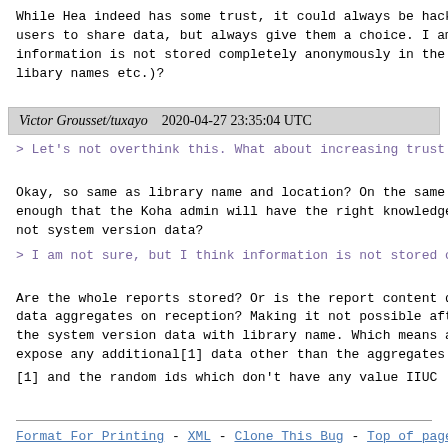While Hea indeed has some trust, it could always be hack users to share data, but always give them a choice. I am information is not stored completely anonymously in the libary names etc.)?
Victor Grousset/tuxayo    2020-04-27 23:35:04 UTC
> Let's not overthink this. What about increasing trust
Okay, so same as library name and location? On the same enough that the Koha admin will have the right knowledge not system version data?
> I am not sure, but I think information is not stored c
Are the whole reports stored? Or is the report content d data aggregates on reception? Making it not possible aft the system version data with library name. Which means a expose any additional[1] data other than the aggregates
[1] and the random ids which don't have any value IIUC
Format For Printing - XML - Clone This Bug - Top of page